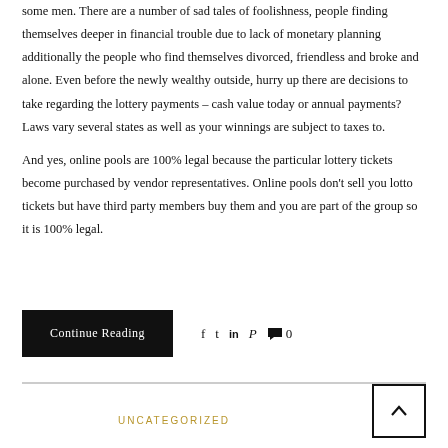some men. There are a number of sad tales of foolishness, people finding themselves deeper in financial trouble due to lack of monetary planning additionally the people who find themselves divorced, friendless and broke and alone. Even before the newly wealthy outside, hurry up there are decisions to take regarding the lottery payments – cash value today or annual payments? Laws vary several states as well as your winnings are subject to taxes to.
And yes, online pools are 100% legal because the particular lottery tickets become purchased by vendor representatives. Online pools don't sell you lotto tickets but have third party members buy them and you are part of the group so it is 100% legal.
Continue Reading
UNCATEGORIZED